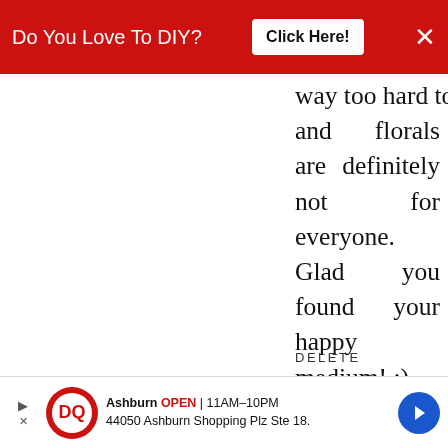[Figure (screenshot): Red advertisement banner at top reading 'Do You Love To DIY?' with a white 'Click Here!' button and an X close button]
way too hard to slipcover and florals are definitely not for everyone. Glad you found your happy medium! :)
DELETE
REPLY
Deb @ Frugal Little Bungalow
JUNE 4, 2016 AT 7:11 AM
[Figure (infographic): WHAT'S NEXT arrow label with thumbnail image and text 'Cottage Style Family Room']
I happen to love that floral couch.
[Figure (screenshot): Bottom advertisement banner for Dairy Queen: 'Ashburn OPEN 11AM-10PM 44050 Ashburn Shopping Plz Ste 18.']